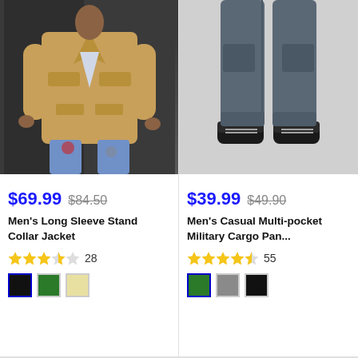[Figure (photo): Man wearing a tan/khaki long sleeve stand collar jacket over a white shirt with ripped jeans, photographed against a dark background]
$69.99 $84.50
Men's Long Sleeve Stand Collar Jacket
28 reviews, 3.5 stars
[Figure (photo): Lower body of man wearing grey military cargo pants with black sneakers, photographed against a light grey background]
$39.99 $49.90
Men's Casual Multi-pocket Military Cargo Pants
55 reviews, 4.5 stars